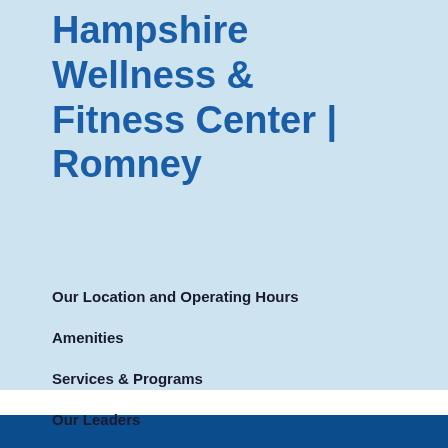Hampshire Wellness & Fitness Center | Romney
Our Location and Operating Hours
Amenities
Services & Programs
Our Leaders
Photo Gallery